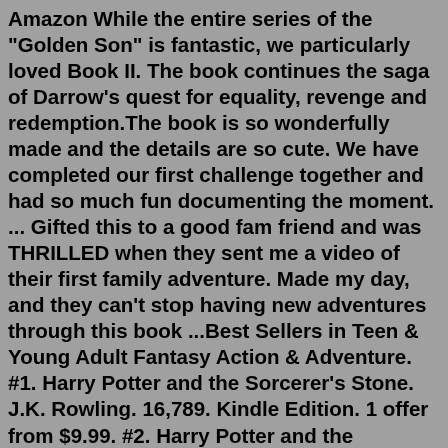Amazon While the entire series of the "Golden Son" is fantastic, we particularly loved Book II. The book continues the saga of Darrow's quest for equality, revenge and redemption.The book is so wonderfully made and the details are so cute. We have completed our first challenge together and had so much fun documenting the moment. ... Gifted this to a good fam friend and was THRILLED when they sent me a video of their first family adventure. Made my day, and they can't stop having new adventures through this book ...Best Sellers in Teen & Young Adult Fantasy Action & Adventure. #1. Harry Potter and the Sorcerer's Stone. J.K. Rowling. 16,789. Kindle Edition. 1 offer from $9.99. #2. Harry Potter and the Chamber of Secrets.The Adventure Box Subscription. $39.99 $49.99. Add to bag. Naughty & Nice Bundle. $84.98 $99.98. Add to bag. Limited Edition Signature Camera. $108.00 $159.99. Add to bag. Dinner & Dessert. $79.98 $109.98. Add to bag. Table For Two. $79.98 $99.98. Add to bag...In Bed Camera Set. $157.00 $200.00. Add to bag. The Adventure Thing...